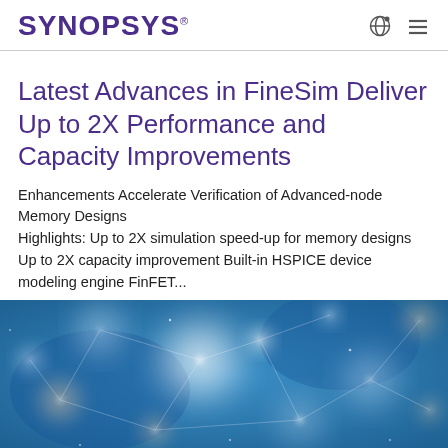SYNOPSYS
Latest Advances in FineSim Deliver Up to 2X Performance and Capacity Improvements
Enhancements Accelerate Verification of Advanced-node Memory Designs
Highlights: Up to 2X simulation speed-up for memory designs Up to 2X capacity improvement Built-in HSPICE device modeling engine FinFET...
[Figure (photo): Abstract blue bokeh background with glowing light particles and geometric network lines — decorative technology image]